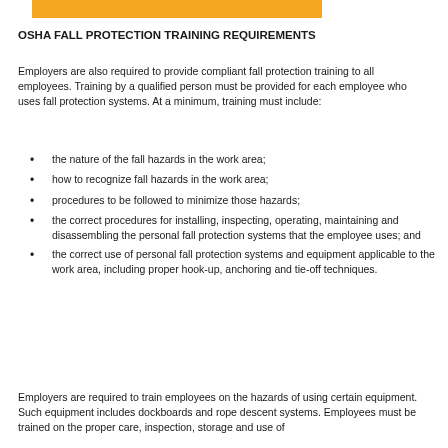[Figure (other): Orange decorative bar at top of page]
OSHA FALL PROTECTION TRAINING REQUIREMENTS
Employers are also required to provide compliant fall protection training to all employees. Training by a qualified person must be provided for each employee who uses fall protection systems. At a minimum, training must include:
the nature of the fall hazards in the work area;
how to recognize fall hazards in the work area;
procedures to be followed to minimize those hazards;
the correct procedures for installing, inspecting, operating, maintaining and disassembling the personal fall protection systems that the employee uses; and
the correct use of personal fall protection systems and equipment applicable to the work area, including proper hook-up, anchoring and tie-off techniques.
Employers are required to train employees on the hazards of using certain equipment. Such equipment includes dockboards and rope descent systems. Employees must be trained on the proper care, inspection, storage and use of